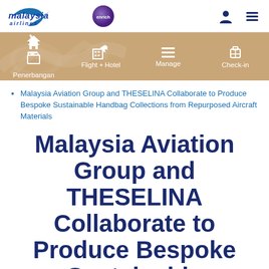[Figure (logo): Malaysia Airlines logo with stylized wing/kris mark and text 'malaysia airlines', alongside Enrich purple circle logo]
[Figure (screenshot): Navigation icon bar with person/account icon and hamburger menu icon]
[Figure (infographic): Golden/tan navigation bar with four items: Penerbangan (flight icon), Flight + Hotel (hotel icon), Manage (list icon), Check-in (luggage icon), with decorative bird/plane watermark on left]
Malaysia Aviation Group and THESELINA Collaborate to Produce Bespoke Sustainable Handbag Collections from Repurposed Aircraft Materials
Malaysia Aviation Group and THESELINA Collaborate to Produce Bespoke Sustainable